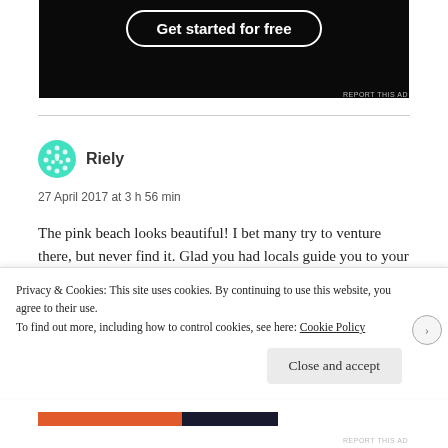[Figure (other): Dark banner advertisement with 'Get started for free' button in rounded border]
REPORT THIS AD
Riely
27 April 2017 at 3 h 56 min
The pink beach looks beautiful! I bet many try to venture there, but never find it. Glad you had locals guide you to your destination. I love quite beaches, enjoying it mostly to yourself, but the group of students you met sounded lovely as well.
Privacy & Cookies: This site uses cookies. By continuing to use this website, you agree to their use.
To find out more, including how to control cookies, see here: Cookie Policy
Close and accept